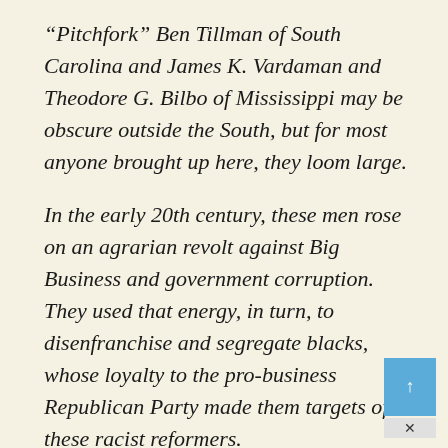“Pitchfork” Ben Tillman of South Carolina and James K. Vardaman and Theodore G. Bilbo of Mississippi may be obscure outside the South, but for most anyone brought up here, they loom large.
In the early 20th century, these men rose on an agrarian revolt against Big Business and government corruption. They used that energy, in turn, to disenfranchise and segregate blacks, whose loyalty to the pro-business Republican Party made them targets of these racist reformers.
Their activities spawned a second wave of Southern Democratic populists, who defied federal court orders and civil rights